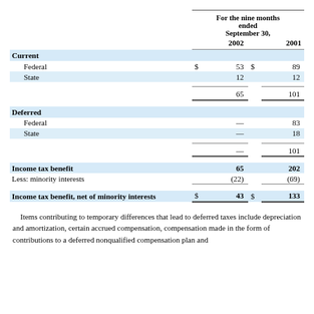|  |  | For the nine months ended September 30, |  |  |
| --- | --- | --- | --- | --- |
| Current |  |  |  |  |
| Federal | $ | 53 | $ | 89 |
| State |  | 12 |  | 12 |
|  |  | 65 |  | 101 |
| Deferred |  |  |  |  |
| Federal |  | — |  | 83 |
| State |  | — |  | 18 |
|  |  | — |  | 101 |
| Income tax benefit |  | 65 |  | 202 |
| Less: minority interests |  | (22) |  | (69) |
| Income tax benefit, net of minority interests | $ | 43 | $ | 133 |
Items contributing to temporary differences that lead to deferred taxes include depreciation and amortization, certain accrued compensation, compensation made in the form of contributions to a deferred nonqualified compensation plan and